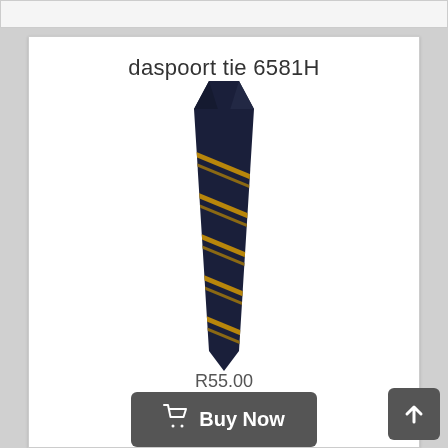daspoort tie 6581H
[Figure (photo): A dark navy blue necktie with diagonal gold/amber stripes, shown full length with the knot at the top.]
R55.00
Buy Now